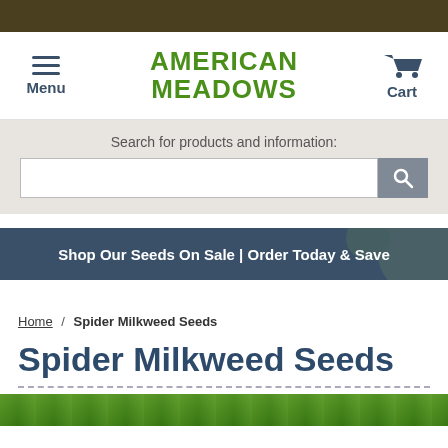[Figure (logo): American Meadows logo with hamburger menu and cart icon]
Search for products and information:
Shop Our Seeds On Sale | Order Today & Save
Home / Spider Milkweed Seeds
Spider Milkweed Seeds
[Figure (photo): Green plant foliage strip at the bottom]